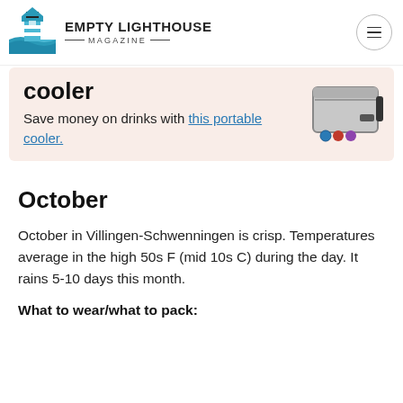EMPTY LIGHTHOUSE MAGAZINE
[Figure (illustration): Empty Lighthouse Magazine logo with lighthouse illustration in blue tones]
cooler
Save money on drinks with this portable cooler.
[Figure (photo): Portable cooler bag product image]
October
October in Villingen-Schwenningen is crisp. Temperatures average in the high 50s F (mid 10s C) during the day. It rains 5-10 days this month.
What to wear/what to pack: